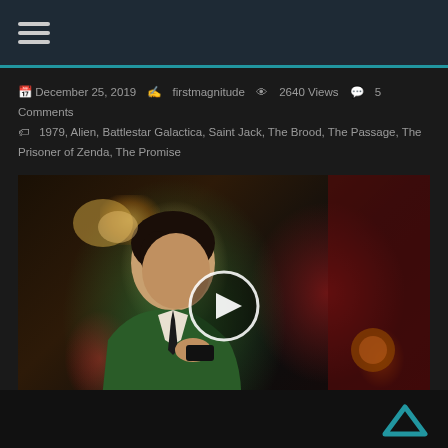☰ (hamburger menu icon)
December 25, 2019  firstmagnitude  2640 Views  5 Comments  1979, Alien, Battlestar Galactica, Saint Jack, The Brood, The Passage, The Prisoner of Zenda, The Promise
[Figure (screenshot): Video thumbnail showing a man in a green suit sitting in an interview setting with red/dark background and warm lamp lighting. A circular white play button overlay is centered on the image.]